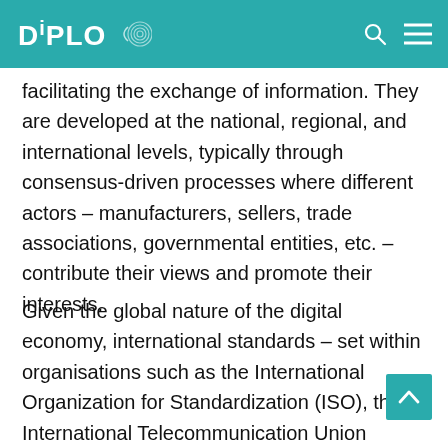DiPLO
facilitating the exchange of information. They are developed at the national, regional, and international levels, typically through consensus-driven processes where different actors – manufacturers, sellers, trade associations, governmental entities, etc. – contribute their views and promote their interests.
Given the global nature of the digital economy, international standards – set within organisations such as the International Organization for Standardization (ISO), the International Telecommunication Union (ITU)...